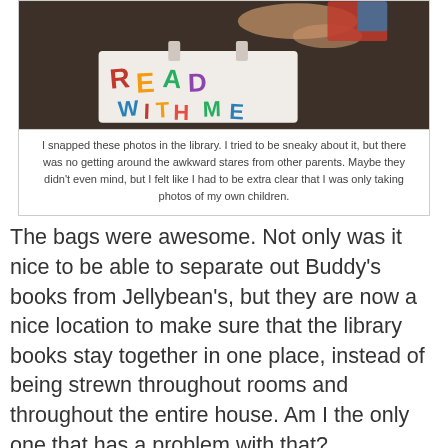[Figure (photo): Child lying on dark carpet holding a white tote bag with colorful letters spelling READ WITH ME, viewed from above]
I snapped these photos in the library. I tried to be sneaky about it, but there was no getting around the awkward stares from other parents. Maybe they didn't even mind, but I felt like I had to be extra clear that I was only taking photos of my own children.
The bags were awesome. Not only was it nice to be able to separate out Buddy's books from Jellybean's, but they are now a nice location to make sure that the library books stay together in one place, instead of being strewn throughout rooms and throughout the entire house. Am I the only one that has a problem with that?
[Figure (photo): Child with blonde hair lying on wooden floor, viewed from above, holding something]